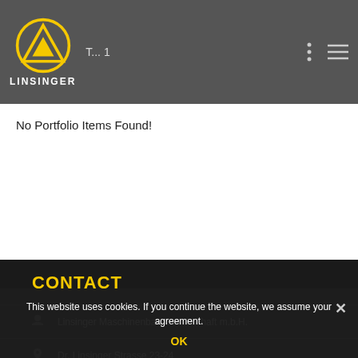[Figure (logo): Linsinger logo: yellow triangle with circular border and 'LINSINGER' text below]
LINSINGER
No Portfolio Items Found!
CONTACT
Linsinger Maschinenbau Gesellschaft m.b.H.
Dr. Linsinger Strasse 23-24
This website uses cookies. If you continue the website, we assume your agreement.
OK